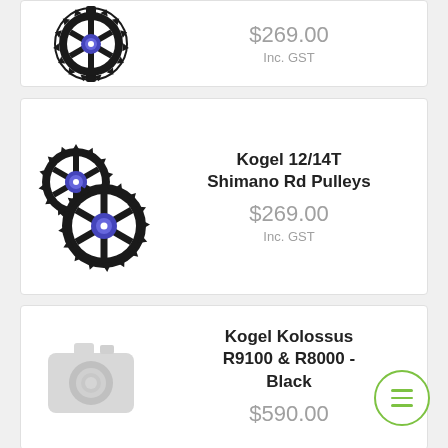[Figure (photo): Single gear/pulley with blue center, partially visible at top of page]
$269.00
Inc. GST
[Figure (photo): Two bicycle pulleys/gears with blue centers, one larger in front-left and one smaller behind-right]
Kogel 12/14T Shimano Rd Pulleys
$269.00
Inc. GST
[Figure (photo): Camera placeholder icon (grey) indicating no product image available]
Kogel Kolossus R9100 & R8000 - Black
$590.00